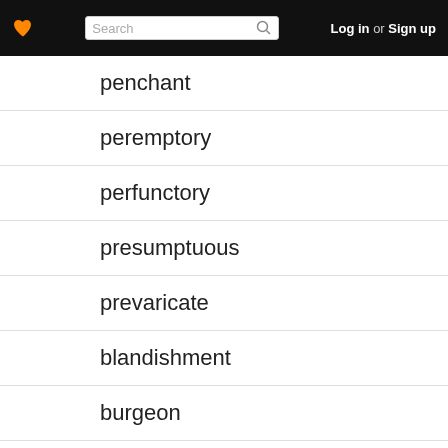Search | Log in or Sign up
penchant
peremptory
perfunctory
presumptuous
prevaricate
blandishment
burgeon
churlish
compendium